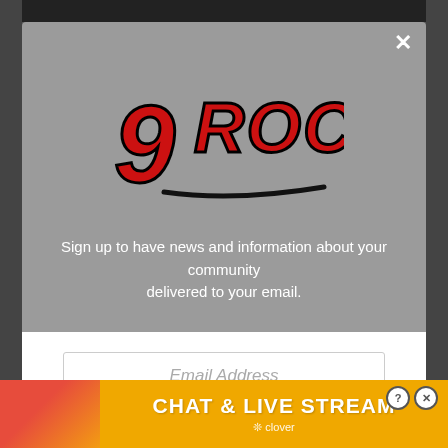[Figure (logo): 97 Rock radio station logo in red graffiti-style lettering with black shadow]
Sign up to have news and information about your community delivered to your email.
Email Address
Like Us On Facebook
[Figure (infographic): Chat & Live Stream advertisement banner with Clover branding, orange background, woman on beach photo]